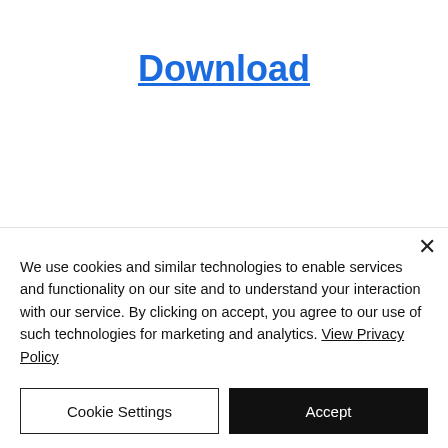Download
We use cookies and similar technologies to enable services and functionality on our site and to understand your interaction with our service. By clicking on accept, you agree to our use of such technologies for marketing and analytics. View Privacy Policy
Cookie Settings
Accept